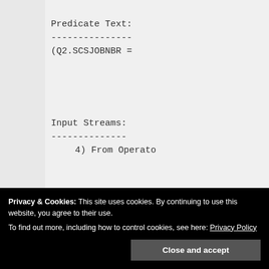Predicate Text:
---------------
(Q2.SCSJOBNBR =
Input Streams:
--------------
4) From Operato
Estimate
Number o
Privacy & Cookies: This site uses cookies. By continuing to use this website, you agree to their use.
To find out more, including how to control cookies, see here: Privacy Policy
Close and accept